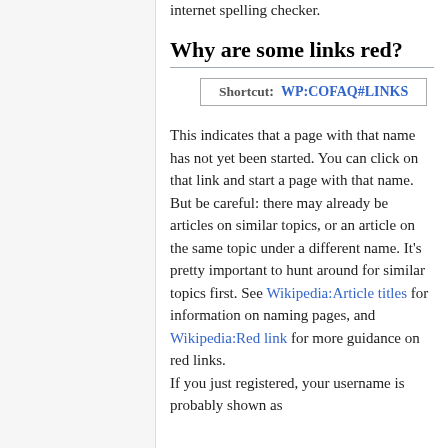internet spelling checker.
Why are some links red?
Shortcut: WP:COFAQ#LINKS
This indicates that a page with that name has not yet been started. You can click on that link and start a page with that name. But be careful: there may already be articles on similar topics, or an article on the same topic under a different name. It's pretty important to hunt around for similar topics first. See Wikipedia:Article titles for information on naming pages, and Wikipedia:Red link for more guidance on red links.
If you just registered, your username is probably shown as